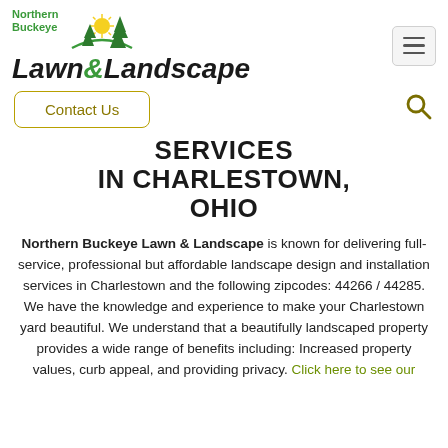[Figure (logo): Northern Buckeye Lawn & Landscape company logo with green text, sun and pine trees illustration]
SERVICES IN CHARLESTOWN, OHIO
Northern Buckeye Lawn & Landscape is known for delivering full-service, professional but affordable landscape design and installation services in Charlestown and the following zipcodes: 44266 / 44285. We have the knowledge and experience to make your Charlestown yard beautiful. We understand that a beautifully landscaped property provides a wide range of benefits including: Increased property values, curb appeal, and providing privacy. Click here to see our